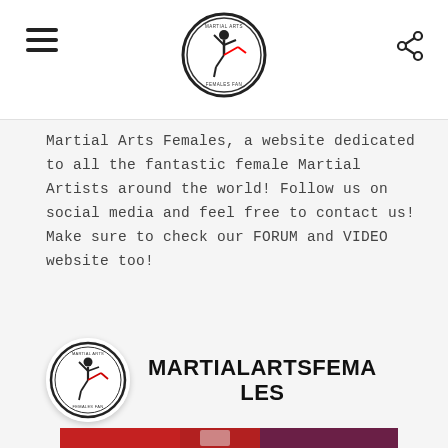Martial Arts Females Fan header with logo, hamburger menu, and share icon
Martial Arts Females, a website dedicated to all the fantastic female Martial Artists around the world! Follow us on social media and feel free to contact us! Make sure to check our FORUM and VIDEO website too!
MARTIALARTSFEMALES
[Figure (photo): Red martial arts competition photo, partially visible at bottom of page]